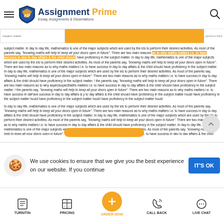[Figure (logo): Assignment Prime logo with shield icon and text 'Essay, Assignments & Dissertations']
subject matter. In day to day life, mathematics is one of the major subjects which are used by the ids to perform their desired activities. As most of the parents say, 'knowing maths will help to keep all your doors open in future'. There are two main reasons as to why maths matters i.e. to have success in day to day affairs & the child should have proficiency in the subject matter. In day to day life, mathematics is one of the major subjects which are used by the ids to perform their desired activities. As most of the parents say, 'knowing maths will help to keep all your doors open in future'. There are two main reasons as to why maths matters i.e. to have success in day to day affairs & the child should have proficiency in the subject matter. In day to day life, mathematics is one of the major subjects which are used by the ids to perform their desired activities. As most of the parents say, 'knowing maths will help to keep all your doors open in future'. There are two main reasons as to why maths matters i.e. to have success in day to day affairs & the child should have proficiency in the subject matter. ! the parents say, 'knowing maths will help to keep all your doors open in future'. There are two main reasons as to why aspectsopecthaths matters i.e. to have success in day to day affairs & the child should have proficiency in the subject matter. ! the parents say, 'knowing maths will help to keep all your doors open in future'. There are two main reasons as to why maths matters i.e. to have success in daFave success in day to day affairs & y to day affairs & the child should have proficiency in the subject matter hould have proficiency in the subject matter hould have proficiency in the subject matter hould have proficiency in the subject matter hould
In day to day life, mathematics is one of the major subjects which are used by the ids to perform their desired activities. As most of the parents say, 'knowing maths will help to keep all your doors open in future'. There are two main reasons as to why maths matters i.e. to have success in day to day affairs & the child should have proficiency in the subject matter. In day to day life, mathematics is one of the major subjects which are used by the ids to perform their desired activities. As most of the parents say, 'knowing maths will help to keep all your doors open in future'. There are two main reasons as to why maths matters i.e. to have success in day to day affairs & the child should have proficiency in the subject matter. In day to day life, mathematics is one of the major subjects which are used by the ids to perform their desired activities. As most of the parents say, 'knowing maths will help to keep all your doors open in future'. There are two main reasons as to why maths matters i.e. to have success in day to day affairs & the child should have proficiency in the subject matter. In day to day life, mathematics is one of the major subjects which are used by the ids to perform their desired activities. As most of the parents say, 'knowing maths will help to keep all your doors open in future'. There are two main reasons as to why maths matters i.e. to have success in day to day affairs & the child should have proficiency in the subject matter. ! the parents say, 'knowing maths will help to keep all your doors open in future'. There are two main reasons as to why maths matters i.e. to have success in day to day affairs & the child should have proficiency in the subject matter
We use cookies to ensure that we give you the best experience on our website. If you continue
[Figure (infographic): Bottom navigation bar with icons for TURNITIN, PRICING, ORDER NOW (orange circle with plus), CALL BACK, LIVE CHAT]